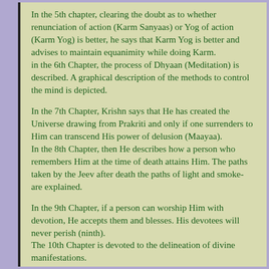In the 5th chapter, clearing the doubt as to whether renunciation of action (Karm Sanyaas) or Yog of action (Karm Yog) is better, he says that Karm Yog is better and advises to maintain equanimity while doing Karm.
in the 6th Chapter, the process of Dhyaan (Meditation) is described. A graphical description of the methods to control the mind is depicted.
In the 7th Chapter, Krishn says that He has created the Universe drawing from Prakriti and only if one surrenders to Him can transcend His power of delusion (Maayaa).
In the 8th Chapter, then He describes how a person who remembers Him at the time of death attains Him. The paths taken by the Jeev after death the paths of light and smoke- are explained.
In the 9th Chapter, if a person can worship Him with devotion, He accepts them and blesses. His devotees will never perish (ninth).
The 10th Chapter is devoted to the delineation of divine manifestations.
In the 11th Chapter, He reveals His Vishwa Roop and Arjun offers prayers to Him. This celestial form can be...